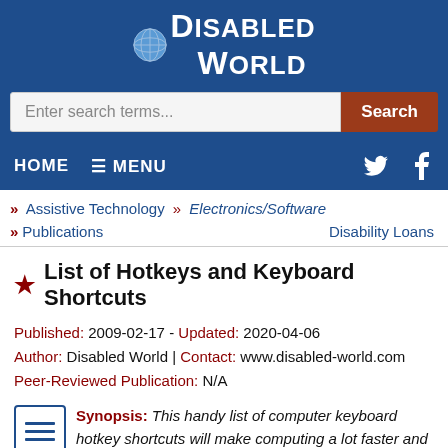[Figure (logo): Disabled World website header with globe logo, blue background, horizontal rules on either side]
[Figure (screenshot): Search bar with placeholder 'Enter search terms...' and orange Search button]
HOME ☰ MENU
» Assistive Technology » Electronics/Software
» Publications  Disability Loans
★ List of Hotkeys and Keyboard Shortcuts
Published: 2009-02-17 - Updated: 2020-04-06
Author: Disabled World | Contact: www.disabled-world.com
Peer-Reviewed Publication: N/A
Synopsis: This handy list of computer keyboard hotkey shortcuts will make computing a lot faster and easier for people with disabilities. Sticky keys enable you to press one key at a time when doing hotkey...